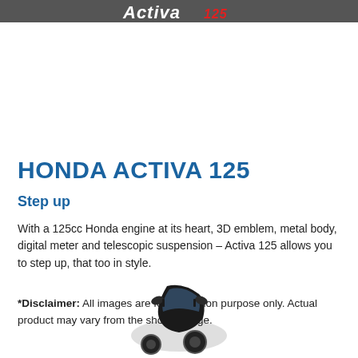[Figure (logo): Activa 125 logo in stylized italic font with red '125' text on dark header bar]
HONDA ACTIVA 125
Step up
With a 125cc Honda engine at its heart, 3D emblem, metal body, digital meter and telescopic suspension – Activa 125 allows you to step up, that too in style.
*Disclaimer: All images are for illustration purpose only. Actual product may vary from the shown image.
[Figure (photo): Partial front view of a dark-colored Honda Activa 125 scooter showing the front fairing and mirror]